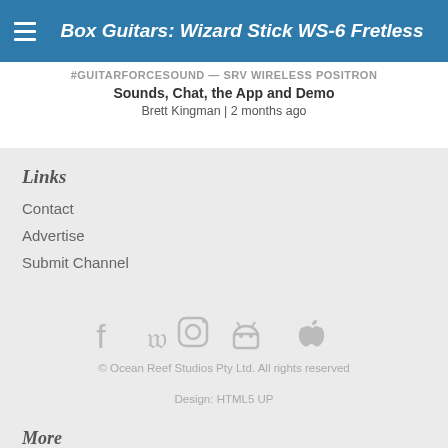Box Guitars: Wizard Stick WS-6 Fretless
Sounds, Chat, the App and Demo
Brett Kingman | 2 months ago
Links
Contact
Advertise
Submit Channel
© Ocean Reef Studios Pty Ltd. All rights reserved
Design: HTML5 UP
More